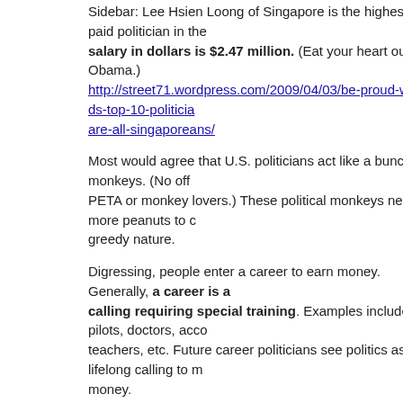Sidebar: Lee Hsien Loong of Singapore is the highest paid politician in the world. His salary in dollars is $2.47 million. (Eat your heart out Obama.) http://street71.wordpress.com/2009/04/03/be-proud-worlds-top-10-politicians-who-are-all-singaporeans/
Most would agree that U.S. politicians act like a bunch of monkeys. (No offense to PETA or monkey lovers.) These political monkeys need more peanuts to curb their greedy nature.
Digressing, people enter a career to earn money. Generally, a career is a calling requiring special training. Examples include pilots, doctors, accountants, teachers, etc. Future career politicians see politics as a lifelong calling to make money.
These people observe the flow of money and quickly realize that controlling other people's money is the way to make money. The Rothschild fortune, accumulated over the past several centuries, was built on this principle. "Give me control of a nation's money and I care not who makes her laws" – Mayer Amschel Rothschild
People wanting a career in politics are no different. Most want to earn money by controlling it. The few politicians that are already wealthy are attracted to the career for other reasons. Politics fills their empty lives with something to do. More importantly, they like being on the power pedestal having peasants grovel at their feet.